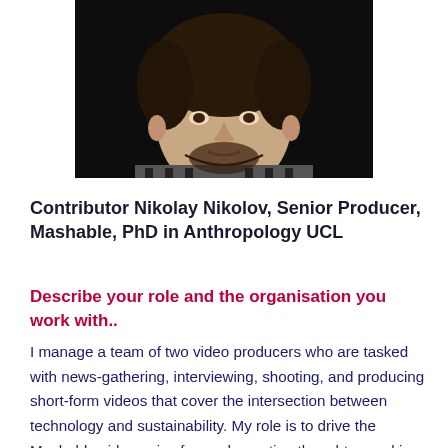[Figure (photo): Headshot photograph of a young man with curly dark hair and a beard, wearing a black and white striped shirt, against a dark background]
Contributor Nikolay Nikolov, Senior Producer, Mashable, PhD in Anthropology UCL
Describe your role and the organisation you work with..
I manage a team of two video producers who are tasked with news-gathering, interviewing, shooting, and producing short-form videos that cover the intersection between technology and sustainability. My role is to drive the Mashable video voice forward, creating thought-provoking documentaries and series that introduce our